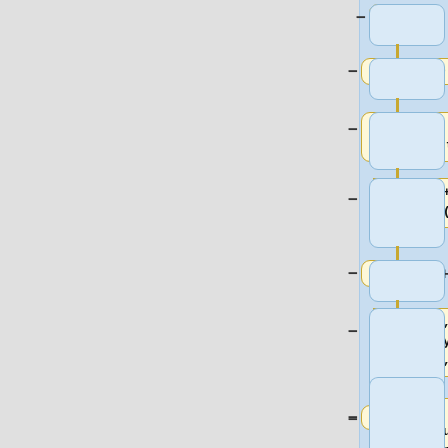[Figure (flowchart): Code diff/flowchart showing Fortran MPI code blocks in yellow boxes on left column and blue boxes on right column. Each row has a minus button on the left and plus button on the right. Code blocks shown: ',ierr)', 'mys=0.0d0', 'do i=myid,m,totps', 'mys=mys+dsqrt(dfloat(i))', 'end do', 'write(*,*)rank: myid mys= mys m: m', 's=0.0d0', 'call mpi_reduce(mys,s,1,mpi_real8,mpi_sum,0,mpi_comm_world,i']